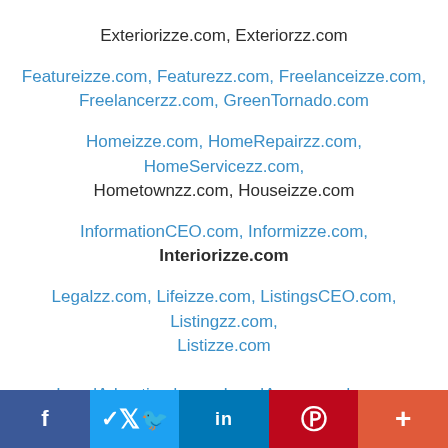Exteriorizze.com, Exteriorzz.com
Featureizze.com, Featurezz.com, Freelanceizze.com, Freelancerzz.com, GreenTornado.com
Homeizze.com, HomeRepairzz.com, HomeServicezz.com, Hometownzz.com, Houseizze.com
InformationCEO.com, Informizze.com, Interiorizze.com
Legalzz.com, Lifeizze.com, ListingsCEO.com, Listingzz.com, Listizze.com
LocalAdvertised.com, LocalAnnounced.com, LocalBranded.com, LocalBrowsed.com, LocalBundled.com, LocalCategories.com, LocalCentralized.com,
f  twitter  in  P  +